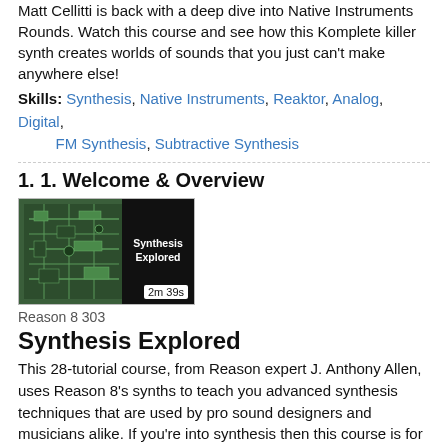Matt Cellitti is back with a deep dive into Native Instruments Rounds. Watch this course and see how this Komplete killer synth creates worlds of sounds that you just can't make anywhere else!
Skills: Synthesis, Native Instruments, Reaktor, Analog, Digital, FM Synthesis, Subtractive Synthesis
1. 1. Welcome & Overview
[Figure (screenshot): Thumbnail image showing a synthesizer circuit board on the left and 'Synthesis Explored' text on a black background on the right, with duration '2m 39s' shown in white box at bottom right]
Reason 8 303
Synthesis Explored
This 28-tutorial course, from Reason expert J. Anthony Allen, uses Reason 8's synths to teach you advanced synthesis techniques that are used by pro sound designers and musicians alike. If you're into synthesis then this course is for you.
Skills: welcome, synthesis, subtractive, FM, sound design
23. 23. Combining Power Windows: Basics